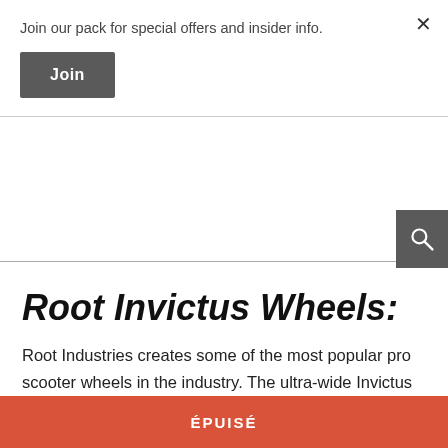Join our pack for special offers and insider info.
Join
Root Invictus Wheels:
Root Industries creates some of the most popular pro scooter wheels in the industry. The ultra-wide Invictus AIR wheels add to the stability of the scooter. The 30mm wheels on the Invictus complete making progression and carving a lot easier for the rider. Combine that with the unrivaled speed gained from ABEC-11 bearings.
ÉPUISÉ